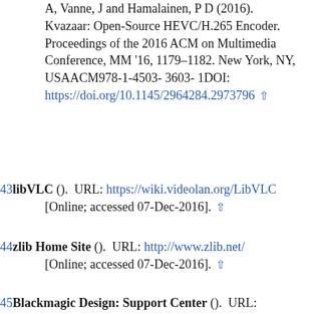A, Vanne, J and Hamalainen, P D (2016). Kvazaar: Open-Source HEVC/H.265 Encoder. Proceedings of the 2016 ACM on Multimedia Conference, MM '16, 1179–1182. New York, NY, USAACM978-1-4503-3603-1DOI: https://doi.org/10.1145/2964284.2973796 ↑
43libVLC (). URL: https://wiki.videolan.org/LibVLC [Online; accessed 07-Dec-2016]. ↑
44zlib Home Site (). URL: http://www.zlib.net/ [Online; accessed 07-Dec-2016]. ↑
45Blackmagic Design: Support Center (). URL: https://www.blackmagicdesign.com/support